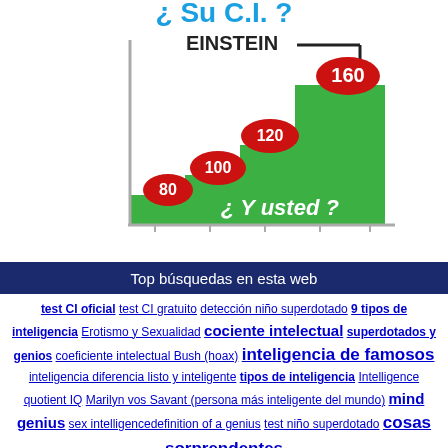[Figure (infographic): IQ scale infographic in Spanish showing an ascending staircase chart with 4 steps labeled 80, 100, 120, 160 (Einstein level). Title reads '¿Su C.I.?' with 'EINSTEIN' marked at the top right. Text '¿Y usted?' appears in the green area.]
Top búsquedas en esta web
test CI oficial test CI gratuito detección niño superdotado 9 tipos de inteligencia Erotismo y Sexualidad cociente intelectual superdotados y genios coeficiente intelectual Bush (hoax) inteligencia de famosos inteligencia diferencia listo y inteligente tipos de inteligencia Intelligence quotient IQ Marilyn vos Savant (persona más inteligente del mundo) mind genius sex intelligencedefinition of a genius test niño superdotado cosas sorprendentes